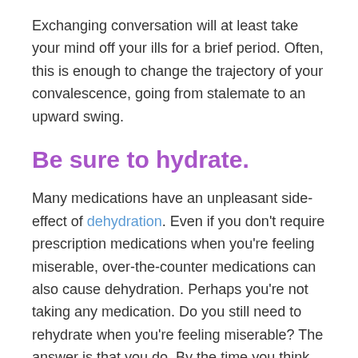Exchanging conversation will at least take your mind off your ills for a brief period. Often, this is enough to change the trajectory of your convalescence, going from stalemate to an upward swing.
Be sure to hydrate.
Many medications have an unpleasant side-effect of dehydration. Even if you don't require prescription medications when you're feeling miserable, over-the-counter medications can also cause dehydration. Perhaps you're not taking any medication. Do you still need to rehydrate when you're feeling miserable? The answer is that you do. By the time you think you're thirsty, you're already dehydrated. This is detrimental to every organ in your body, including your brain. When